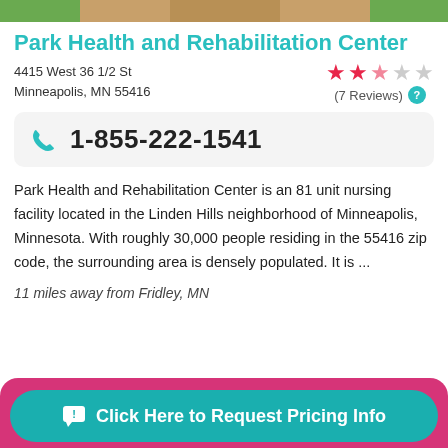[Figure (photo): Photo strip of Park Health and Rehabilitation Center exterior or garden]
Park Health and Rehabilitation Center
4415 West 36 1/2 St
Minneapolis, MN 55416
[Figure (infographic): Star rating: 2.5 out of 5 stars (7 Reviews)]
1-855-222-1541
Park Health and Rehabilitation Center is an 81 unit nursing facility located in the Linden Hills neighborhood of Minneapolis, Minnesota. With roughly 30,000 people residing in the 55416 zip code, the surrounding area is densely populated. It is ...
11 miles away from Fridley, MN
Click Here to Request Pricing Info